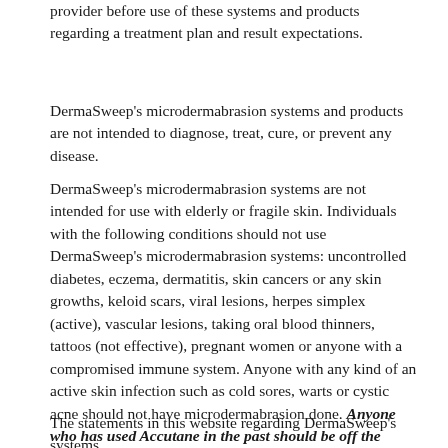provider before use of these systems and products regarding a treatment plan and result expectations.
DermaSweep's microdermabrasion systems and products are not intended to diagnose, treat, cure, or prevent any disease.
DermaSweep's microdermabrasion systems are not intended for use with elderly or fragile skin. Individuals with the following conditions should not use DermaSweep's microdermabrasion systems: uncontrolled diabetes, eczema, dermatitis, skin cancers or any skin growths, keloid scars, viral lesions, herpes simplex (active), vascular lesions, taking oral blood thinners, tattoos (not effective), pregnant women or anyone with a compromised immune system. Anyone with any kind of an active skin infection such as cold sores, warts or cystic acne should not have microdermabrasion done. Anyone who has used Accutane in the past should be off the medication for 6 to 24 months before having microdermabrasion.
The statements in this website regarding DermaSweep's systems